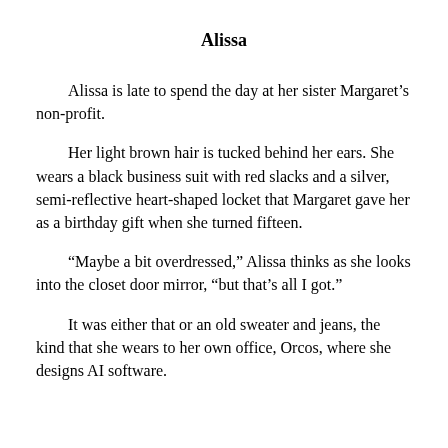Alissa
Alissa is late to spend the day at her sister Margaret’s non-profit.
Her light brown hair is tucked behind her ears. She wears a black business suit with red slacks and a silver, semi-reflective heart-shaped locket that Margaret gave her as a birthday gift when she turned fifteen.
“Maybe a bit overdressed,” Alissa thinks as she looks into the closet door mirror, “but that’s all I got.”
It was either that or an old sweater and jeans, the kind that she wears to her own office, Orcos, where she designs AI software.